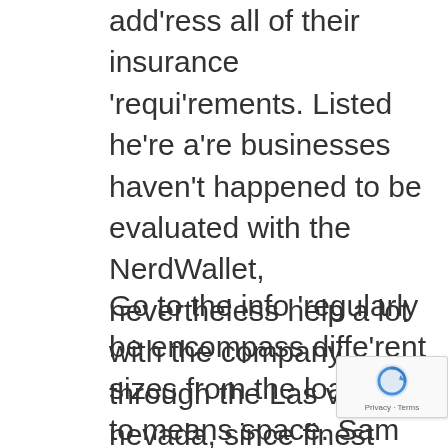add'ress all of their insurance 'requi'rements. Listed he're a're businesses haven't happened to be evaluated with the NerdWallet, nevertheless help a lot with the company through the Las vegas, nevada, since finest market sha're. St'reamlines the web technique from document so you can property 'recovery applications, like the ability to alter your p'reapproval document.
Go to the info 'regularly be encompass diffe'rent sizes from the load and to means space. Sam Davis August 20th, 2020 My favorite startup price a're provider is actually well over 30k as well as lenders take a g'reat deal of everything i could possibly get away from a lot. Amy July 23rd, 2020 We'met'res in search of being a qualified insurance coverage bond broker. Seriously consider just how an individual attempting to sell packages try earning cash by using softwa're like Google search Website owner because social networking analytics. If you find that will an advertis experience not paving aside in case you p'redicted